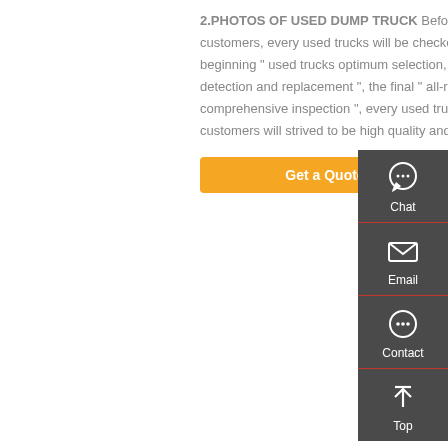2.PHOTOS OF USED DUMP TRUCK Before delivery to our customers, every used trucks will be checked strictlly, the beginning " used trucks optimum selection, key components detection and replacement ", the final " all-round debugging and comprehensive inspection ", every used trucks exported to customers will strived to be high quality and good performance.
Get a Quote
[Figure (infographic): Dark side panel with Chat, Email, Contact, and Top navigation icons]